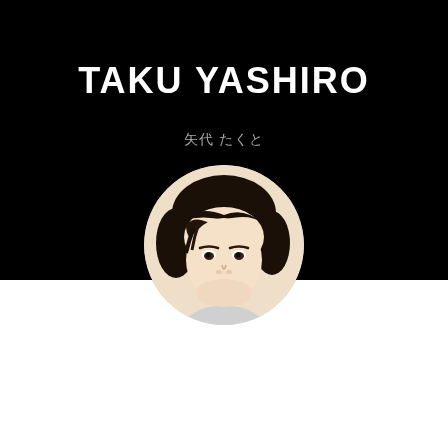TAKU YASHIRO
矢代 たくと
[Figure (photo): Circular portrait photo of a young Japanese man with dark medium-length hair against a white background, displayed on a black page section.]